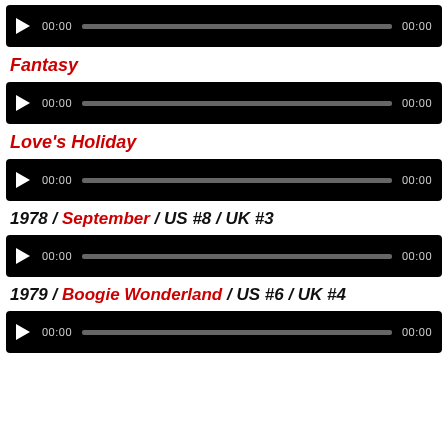[Figure (screenshot): Audio player 1 - black background with play button, progress bar, 00:00 timestamps]
Fantasy
[Figure (screenshot): Audio player 2 - black background with play button, progress bar, 00:00 timestamps]
Love's Holiday
[Figure (screenshot): Audio player 3 - black background with play button, progress bar, 00:00 timestamps]
1978 / September / US #8 / UK #3
[Figure (screenshot): Audio player 4 - black background with play button, progress bar, 00:00 timestamps]
1979 / Boogie Wonderland / US #6 / UK #4
[Figure (screenshot): Audio player 5 - black background with play button, progress bar, 00:00 timestamps]